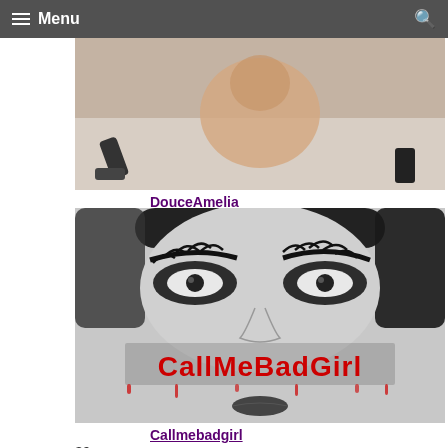Menu
[Figure (photo): Thumbnail image for DouceAmelia content]
DouceAmelia 31
2:05
[Figure (photo): Thumbnail image for Callmebadgirl content showing a woman's face in black and white with red text 'CallMeBadGirl']
Callmebadgirl 39
0:16